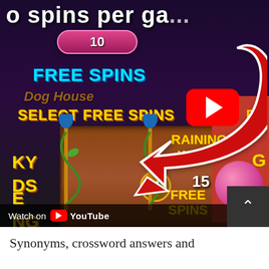[Figure (screenshot): Screenshot of a mobile slot game (Dog House) showing a 'Select Free Spins' screen with 'Raining Wilds 15 Free Spins' option, overlaid with a large red curved arrow and a YouTube play button. Below the game image is a 'Watch on YouTube' bar and a scroll-up button. A large red arrow annotation points toward the YouTube play icon.]
Synonyms, crossword answers and